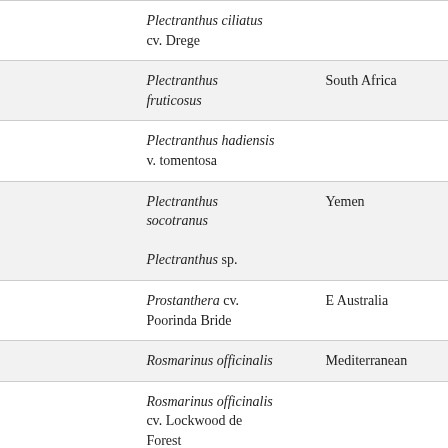|  | Species | Origin |
| --- | --- | --- |
|  | Plectranthus ciliatus cv. Drege |  |
|  | Plectranthus fruticosus | South Africa |
|  | Plectranthus hadiensis v. tomentosa |  |
|  | Plectranthus socotranus

Plectranthus sp. | Yemen |
|  | Prostanthera cv. Poorinda Bride | E Australia |
|  | Rosmarinus officinalis | Mediterranean |
|  | Rosmarinus officinalis cv. Lockwood de Forest |  |
|  | Salvia apiana | California |
|  | Salvia brandegei | California, Mexico(Baja, CA) |
|  |  | California |